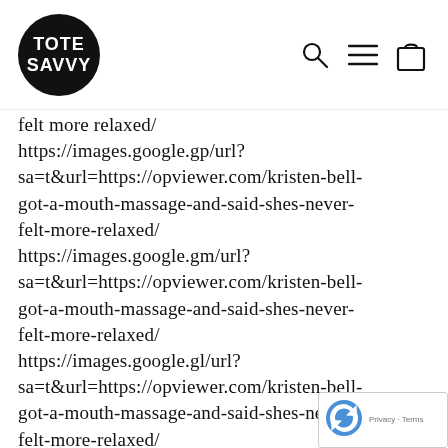[Figure (logo): Tote Savvy logo: black circle with white bold text reading TOTE SAVVY, with search, hamburger menu, and shopping bag icons on the right]
felt more relaxed/
https://images.google.gp/url?sa=t&url=https://opviewer.com/kristen-bell-got-a-mouth-massage-and-said-shes-never-felt-more-relaxed/
https://images.google.gm/url?sa=t&url=https://opviewer.com/kristen-bell-got-a-mouth-massage-and-said-shes-never-felt-more-relaxed/
https://images.google.gl/url?sa=t&url=https://opviewer.com/kristen-bell-got-a-mouth-massage-and-said-shes-never-felt-more-relaxed/
https://images.google.gg/url?sa=t&url=https://opviewer.com/kristen-bell-got-a-mouth-massage-and-said-shes-never-felt-more-relaxed/